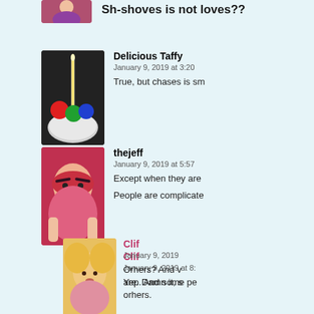Sh-shoves is not loves??
Delicious Taffy
January 9, 2019 at 3:20
True, but chases is sm
thejeff
January 9, 2019 at 5:57
Except when they are
People are complicate
Clif
January 9, 2019 at 8:
Yep. And some pe
orhers.
Clif
January 9, 2019
Orhers? And v
are. Damn it, s